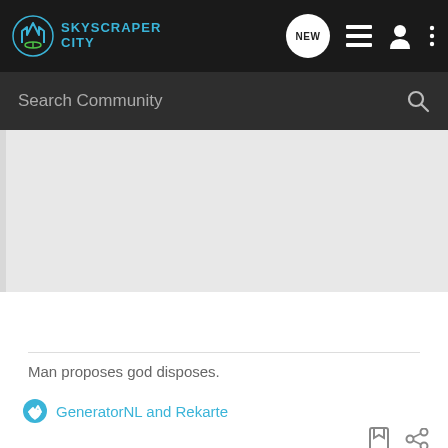SKYSCRAPER CITY — navigation bar with logo, NEW button, list icon, user icon, more icon
Search Community
[Figure (screenshot): Grey content placeholder area]
Man proposes god disposes.
GeneratorNL and Rekarte
cbe"fan"atic · cbe admirer 🇮🇳
Joined Jan 6, 2013 · 2,050 Posts